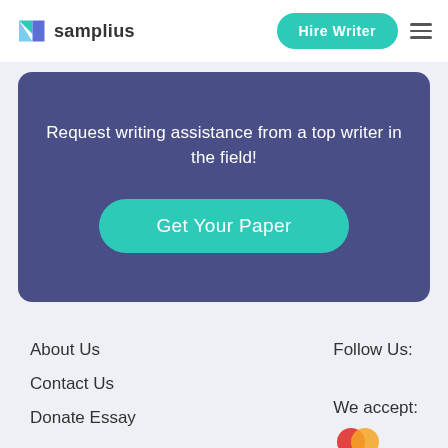samplius | Hire Writer
Request writing assistance from a top writer in the field!
Get Your Paper
About Us
Contact Us
Donate Essay
Follow Us:
[Figure (illustration): Social media icons: Facebook (f), Twitter bird, Instagram camera]
We accept:
[Figure (illustration): Mastercard logo (partially visible, red and orange overlapping circles)]